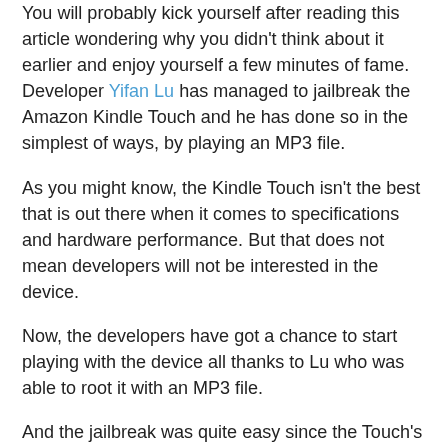You will probably kick yourself after reading this article wondering why you didn't think about it earlier and enjoy yourself a few minutes of fame. Developer Yifan Lu has managed to jailbreak the Amazon Kindle Touch and he has done so in the simplest of ways, by playing an MP3 file.
As you might know, the Kindle Touch isn't the best that is out there when it comes to specifications and hardware performance. But that does not mean developers will not be interested in the device.
Now, the developers have got a chance to start playing with the device all thanks to Lu who was able to root it with an MP3 file.
And the jailbreak was quite easy since the Touch's OS uses a lot of easy-to-exploit HTML. The software is written mostly in HTML5 and JavaScript, not the Java on the other Kindles.
If you are planning to jailbreak it, you just have to download an MP3 file and play it on the Kindle Touch.